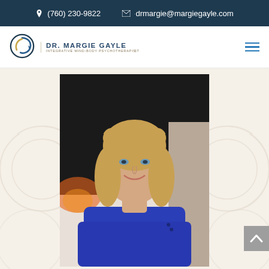(760) 230-9822   drmargie@margiegayle.com
[Figure (logo): Dr. Margie Gayle logo with circular icon and text: DR. MARGIE GAYLE, Integrative Mind-Body Psychotherapist]
[Figure (photo): Professional headshot of Dr. Margie Gayle, a woman with blonde shoulder-length hair wearing a blue sweater, smiling, seated in what appears to be a living room setting]